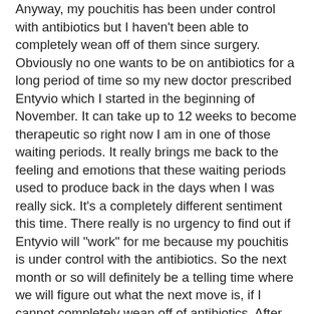Anyway, my pouchitis has been under control with antibiotics but I haven't been able to completely wean off of them since surgery.  Obviously no one wants to be on antibiotics for a long period of time so my new doctor prescribed Entyvio which I started in the beginning of November.  It can take up to 12 weeks to become therapeutic so right now I am in one of those waiting periods.  It really brings me back to the feeling and emotions that these waiting periods used to produce back in the days when I was really sick.  It's a completely different sentiment this time.  There really is no urgency to find out if Entyvio will "work" for me because my pouchitis is under control with the antibiotics.  So the next month or so will definitely be a telling time where we will figure out what the next move is, if I cannot completely wean off of antibiotics.  After seeing how healthy my insides looked, my new GI is definitely more receptive to keeping me on a long-term antibiotic regimen.
For anyone who has been wondering what I've been up to-- Rather than spew everything that's happened in the last year, here is my 2015 recap, abbreviated:
April 2015 - September...